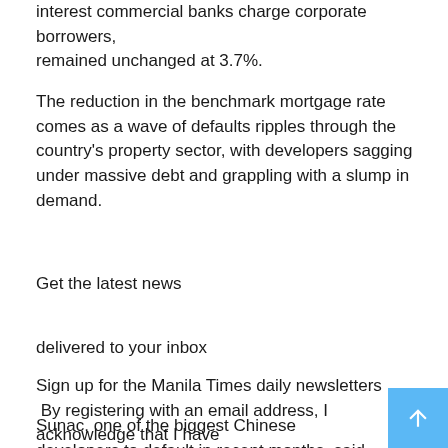interest commercial banks charge corporate borrowers, remained unchanged at 3.7%.
The reduction in the benchmark mortgage rate comes as a wave of defaults ripples through the country's property sector, with developers sagging under massive debt and grappling with a slump in demand.
Get the latest news
delivered to your inbox
Sign up for the Manila Times daily newsletters
 By registering with an email address, I acknowledge that I have
      read and accept the terms of use and the privacy policy.
Sunac, one of the biggest Chinese developers to default in recent months, said last week that sales in major cities fell dramatically in March and April due to the wave of coronavirus.